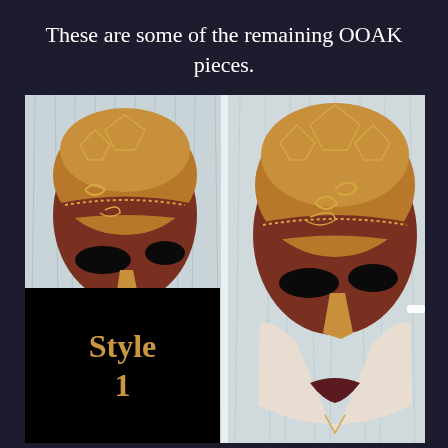These are some of the remaining OOAK pieces.
[Figure (photo): Two side-by-side photos of an ornate Venetian-style masquerade mask with gold and dark red/maroon coloring with white lower face, featuring gold decorative patterns on the forehead, displayed on a light blue/white fur background]
Style 1